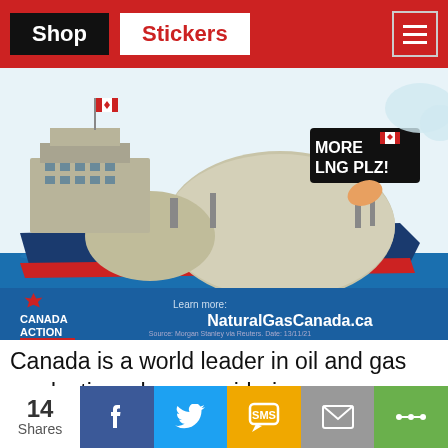Shop | Stickers
[Figure (illustration): Illustration of an LNG tanker ship with Canada Action branding. Text reads 'MORE LNG PLZ!' on a sign. Footer text: 'Learn more: NaturalGasCanada.ca'. Source: Morgan Stanley via Reuters. Date: 13/11/21.]
Canada is a world leader in oil and gas production when considering environmental, social and governance metrics. Projects such as Coastal
14 Shares | Facebook | Twitter | SMS | Email | Share